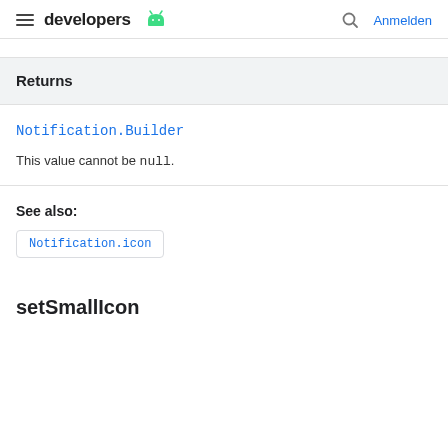developers | Anmelden
| Returns |
| --- |
| Notification.Builder |
| This value cannot be null. |
See also:
Notification.icon
setSmallIcon